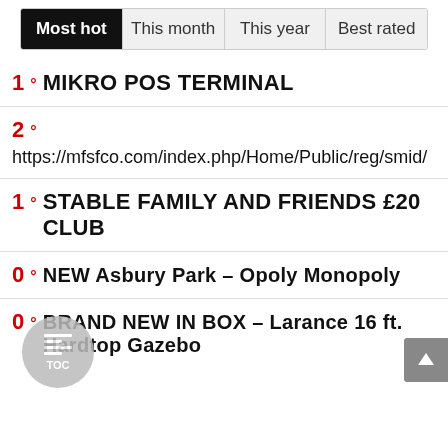[Figure (other): Tab navigation bar with four tabs: Most hot (active/selected, black background), This month, This year, Best rated]
1° MIKRO POS TERMINAL
2°
https://mfsfco.com/index.php/Home/Public/reg/smid/
1° STABLE FAMILY AND FRIENDS £20 CLUB
0° NEW Asbury Park – Opoly Monopoly
0° BRAND NEW IN BOX – Larance 16 ft. Hardtop Gazebo